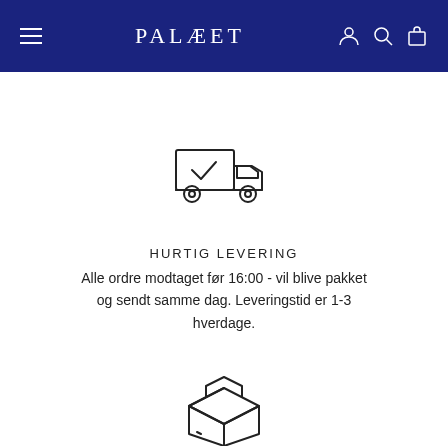PALÆET
[Figure (illustration): Line icon of a delivery truck with a checkmark on the cargo area]
HURTIG LEVERING
Alle ordre modtaget før 16:00 - vil blive pakket og sendt samme dag. Leveringstid er 1-3 hverdage.
[Figure (illustration): Line icon of a cardboard package/box]